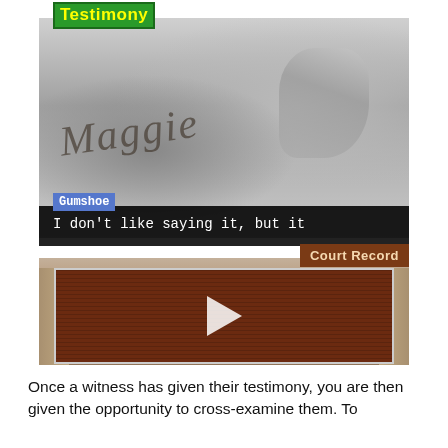[Figure (screenshot): Game screenshot showing two screens. Top screen: grayscale photo of a person writing 'Maggie' in dirt/sand, with a 'Testimony' label in green/yellow at top left, a 'Gumshoe' speaker tag in blue, and a dialog box reading: I don't like saying it, but it was clearly the defendant's name, "Maggie", sir. Bottom screen: courtroom background with a 'Court Record' button in brown top right and a dark reddish video player area with a white play triangle button.]
Once a witness has given their testimony, you are then given the opportunity to cross-examine them. To...